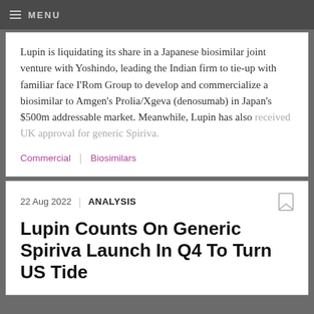MENU
Lupin is liquidating its share in a Japanese biosimilar joint venture with Yoshindo, leading the Indian firm to tie-up with familiar face I'Rom Group to develop and commercialize a biosimilar to Amgen's Prolia/Xgeva (denosumab) in Japan's $500m addressable market. Meanwhile, Lupin has also received UK approval for generic Spiriva.
Commercial | Biosimilars
22 Aug 2022 | ANALYSIS
Lupin Counts On Generic Spiriva Launch In Q4 To Turn US Tide